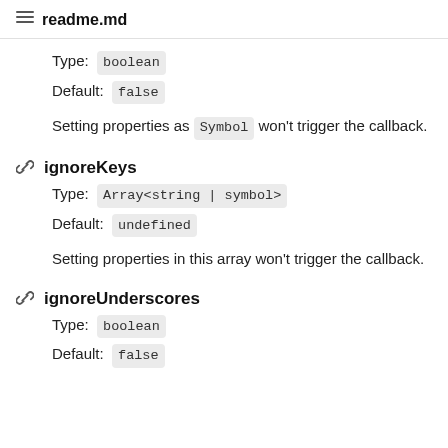readme.md
Type: boolean
Default: false
Setting properties as Symbol won't trigger the callback.
ignoreKeys
Type: Array<string | symbol>
Default: undefined
Setting properties in this array won't trigger the callback.
ignoreUnderscores
Type: boolean
Default: false